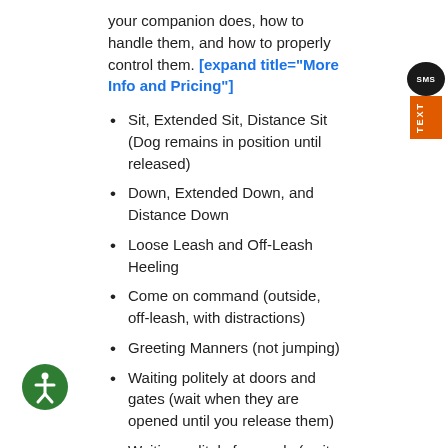your companion does, how to handle them, and how to properly control them. [expand title="More Info and Pricing"]
Sit, Extended Sit, Distance Sit (Dog remains in position until released)
Down, Extended Down, and Distance Down
Loose Leash and Off-Leash Heeling
Come on command (outside, off-leash, with distractions)
Greeting Manners (not jumping)
Waiting politely at doors and gates (wait when they are opened until you release them)
Waiting politely for meals (wait until they are released)
Training and Socialization with distractions (dogs and people)
Place and Extended Place (jump up and sit on any